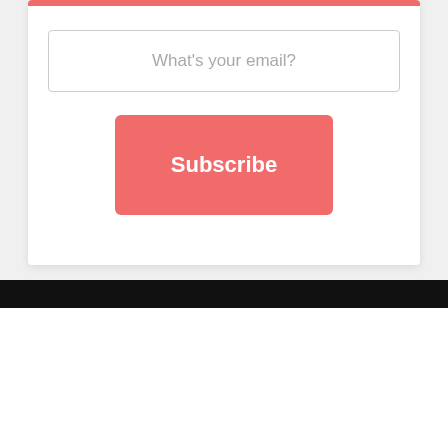[Figure (screenshot): Email subscription form with a coral top bar, an email input field with placeholder 'What's your email?', and a coral 'Subscribe' button]
By Clicking on "Accept", you agree to the storing of cookies on your device to enhance site navigation, analyze site usage, and assist in our marketing efforts.
Accept